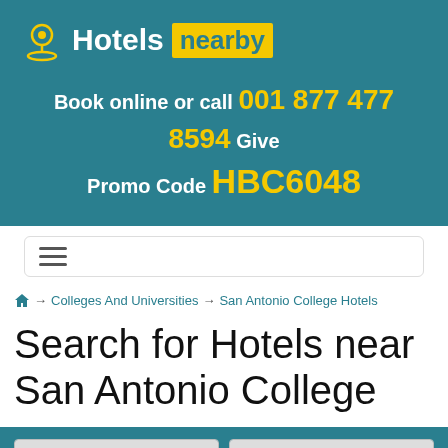Hotels nearby
Book online or call 001 877 477 8594 Give Promo Code HBC6048
[Figure (other): Hamburger menu / navigation toggle button]
🏠 → Colleges And Universities → San Antonio College Hotels
Search for Hotels near San Antonio College
Check-in  Check-out